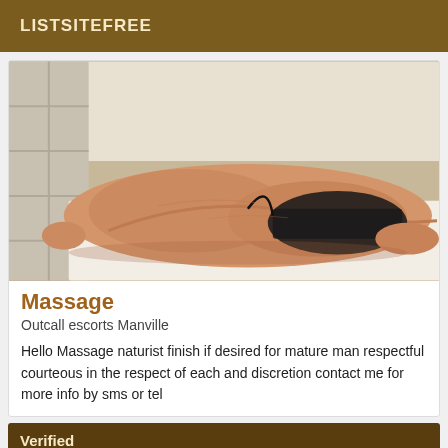LISTSITEFREE
[Figure (photo): Person lying face down on a white surface in a bathroom setting, wearing black lace underwear, back visible]
Massage
Outcall escorts Manville
Hello Massage naturist finish if desired for mature man respectful courteous in the respect of each and discretion contact me for more info by sms or tel
Verified